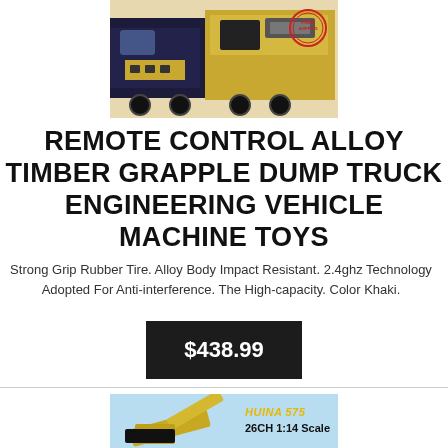[Figure (photo): Photo of remote control alloy timber grapple dump truck toy, yellow/khaki and dark blue colors, with a red circular stamp/seal in top right corner]
REMOTE CONTROL ALLOY TIMBER GRAPPLE DUMP TRUCK ENGINEERING VEHICLE MACHINE TOYS
Strong Grip Rubber Tire. Alloy Body Impact Resistant. 2.4ghz Technology Adopted For Anti-interference. The High-capacity. Color Khaki.
$438.99
[Figure (photo): Photo of second product - HUINA 575 26CH 1:14 Scale engineering vehicle toy, yellow excavator on light blue/beige background]